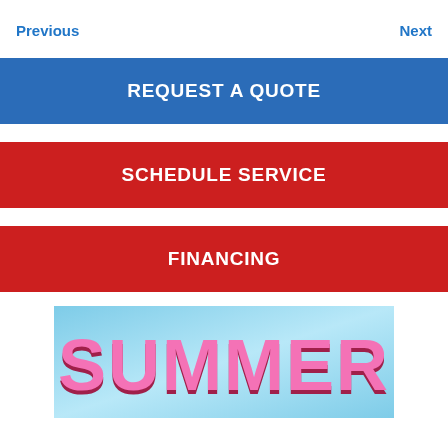Previous
Next
REQUEST A QUOTE
SCHEDULE SERVICE
FINANCING
[Figure (illustration): Summer promotional banner with pink bold text 'SUMMER' on a light blue background]